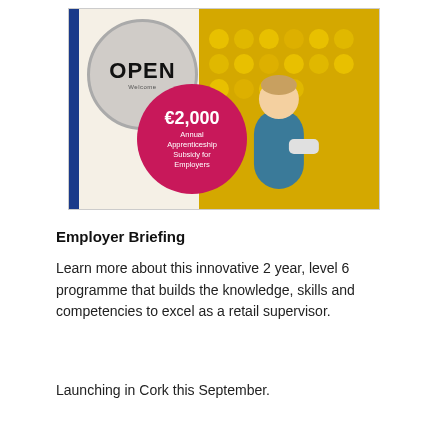[Figure (illustration): Promotional image for an apprenticeship programme. Features a circular 'OPEN' sign on the left against a cream background, a circular photo of a woman in a retail store on the right against a yellow background, and a pink circle in the centre-bottom showing '€2,000 Annual Apprenticeship Subsidy for Employers'. A blue vertical strip is on the far left, and the background is pink/magenta.]
Employer Briefing
Learn more about this innovative 2 year, level 6 programme that builds the knowledge, skills and competencies to excel as a retail supervisor.
Launching in Cork this September.